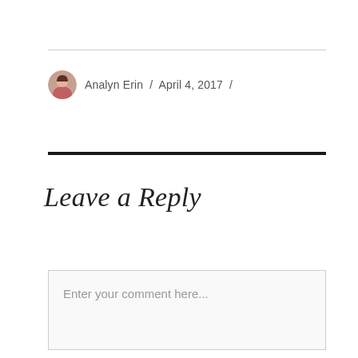Analyn Erin / April 4, 2017 /
Leave a Reply
Enter your comment here...